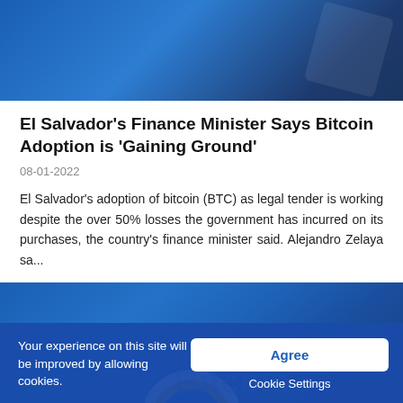[Figure (photo): Blue gradient banner image at top of article]
El Salvador's Finance Minister Says Bitcoin Adoption is 'Gaining Ground'
08-01-2022
El Salvador's adoption of bitcoin (BTC) as legal tender is working despite the over 50% losses the government has incurred on its purchases, the country's finance minister said. Alejandro Zelaya sa...
[Figure (photo): Blue gradient background with Bitcoin logo and watermark text]
Your experience on this site will be improved by allowing cookies.
Agree
Cookie Settings